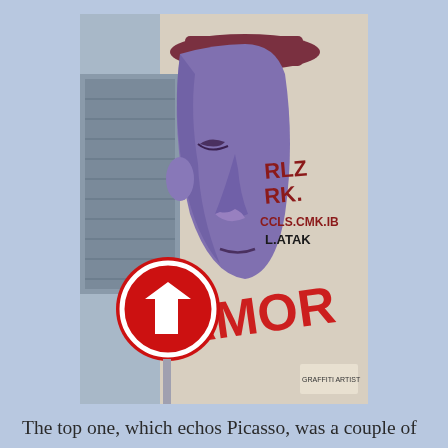[Figure (photo): Street art / graffiti on a building wall showing a large purple face of a man wearing a hat, painted in a style echoing Picasso. Red graffiti text reads 'AMOR' and there are additional tags. A red circular no-entry or similar street sign is visible in the foreground on a pole.]
The top one, which echos Picasso, was a couple of doors down from my apartment building entrance and helped me know I was home. The hatted purple man was also a similar landmark for my stay and wanderings, and I was always happy to see him, meaning I was on the right path of...